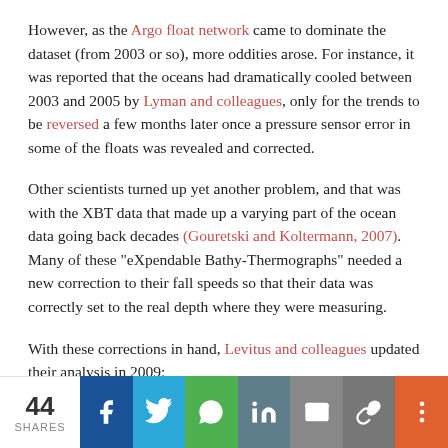However, as the Argo float network came to dominate the dataset (from 2003 or so), more oddities arose. For instance, it was reported that the oceans had dramatically cooled between 2003 and 2005 by Lyman and colleagues, only for the trends to be reversed a few months later once a pressure sensor error in some of the floats was revealed and corrected.
Other scientists turned up yet another problem, and that was with the XBT data that made up a varying part of the ocean data going back decades (Gouretski and Koltermann, 2007). Many of these "eXpendable Bathy-Thermographs" needed a new correction to their fall speeds so that their data was correctly set to the real depth where they were measuring.
With these corrections in hand, Levitus and colleagues updated their analysis in 2009:
44 SHARES | Facebook | Twitter | WhatsApp | LinkedIn | Email | Copy Link | More